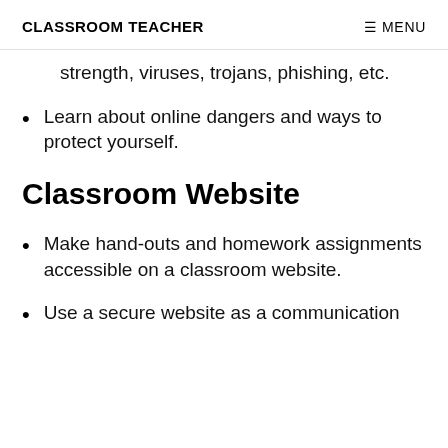CLASSROOM TEACHER   ≡ MENU
strength, viruses, trojans, phishing, etc.
Learn about online dangers and ways to protect yourself.
Classroom Website
Make hand-outs and homework assignments accessible on a classroom website.
Use a secure website as a communication